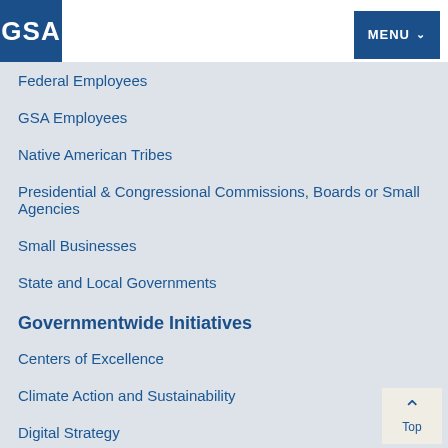GSA | MENU
Federal Employees
GSA Employees
Native American Tribes
Presidential & Congressional Commissions, Boards or Small Agencies
Small Businesses
State and Local Governments
Governmentwide Initiatives
Centers of Excellence
Climate Action and Sustainability
Digital Strategy
FedRAMP (Cloud Security)